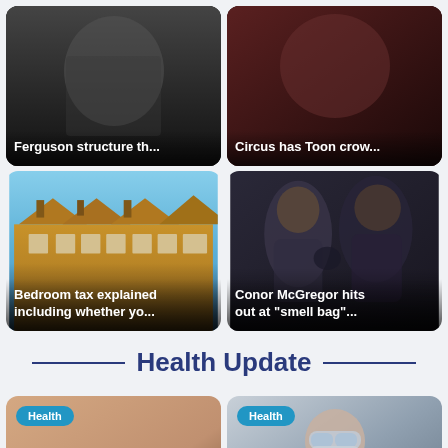[Figure (photo): News card: Ferguson structure th... with dark background]
[Figure (photo): News card: Circus has Toon crow... with dark reddish background]
[Figure (photo): News card: Bedroom tax explained including whether yo... showing row of brick houses]
[Figure (photo): News card: Conor McGregor hits out at 'smell bag'... showing two MMA fighters]
Health Update
[Figure (photo): Health card: Comorbidities up among patients with... showing skin close-up, Health badge]
[Figure (photo): Health card: 10 percent of carbapenem-resistant... showing masked scientist, Health badge]
[Figure (photo): Health card (partial): Health badge, light blue/grey background]
[Figure (photo): Health card (partial): Health badge, dark blue background]